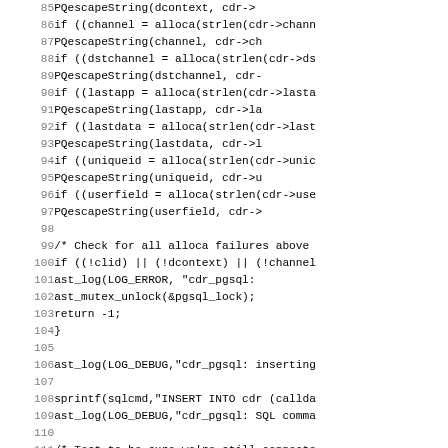[Figure (screenshot): Source code listing showing C code lines 85–116, including alloca/PQescapeString calls, error checking, SQL insert, and connection status check.]